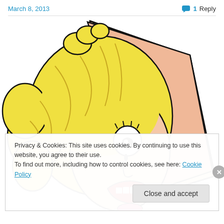March 8, 2013   💬 1 Reply
[Figure (illustration): Comic-style illustration of a blonde woman with a shocked/horrified expression, hand raised to her head, mouth open showing teeth, wide eyes. Pop-art style with bold outlines and yellow hair.]
Privacy & Cookies: This site uses cookies. By continuing to use this website, you agree to their use.
To find out more, including how to control cookies, see here: Cookie Policy
Close and accept